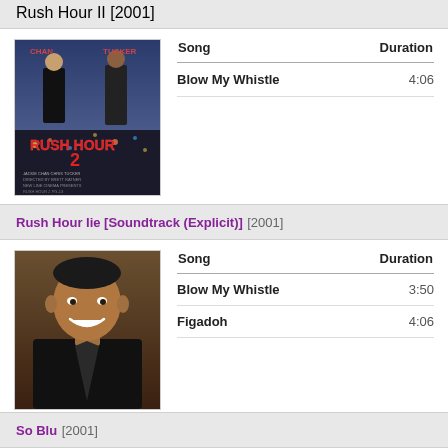Rush Hour II [2001]
[Figure (photo): Rush Hour 2 movie poster showing Chan and Tucker standing in black suits with city lights behind them and 'RUSH HOUR 2' title in red text]
| Song | Duration |
| --- | --- |
| Blow My Whistle | 4:06 |
Rush Hour Iie [Soundtrack (Explicit)] [2001]
[Figure (photo): Photo of a man (Dwayne Johnson) smiling, wearing black leather jacket]
| Song | Duration |
| --- | --- |
| Blow My Whistle | 3:50 |
| Figadoh | 4:06 |
So Blu [2001]